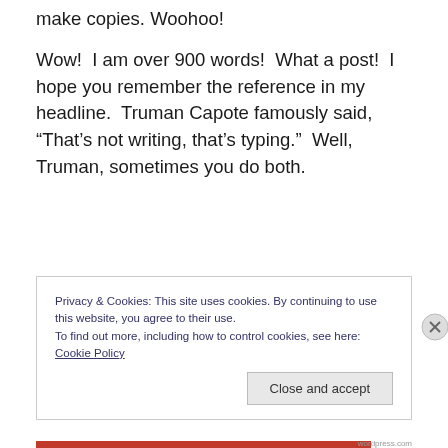make copies. Woohoo!
Wow!  I am over 900 words!  What a post!  I hope you remember the reference in my headline.  Truman Capote famously said, “That’s not writing, that’s typing.”  Well, Truman, sometimes you do both.
Privacy & Cookies: This site uses cookies. By continuing to use this website, you agree to their use.
To find out more, including how to control cookies, see here: Cookie Policy
Close and accept